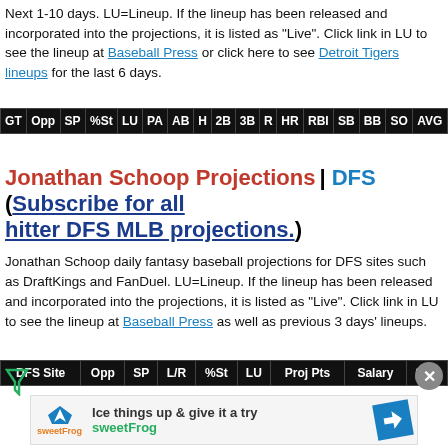Next 1-10 days. LU=Lineup. If the lineup has been released and incorporated into the projections, it is listed as "Live". Click link in LU to see the lineup at Baseball Press or click here to see Detroit Tigers lineups for the last 6 days.
| GT | Opp | SP | %St | LU | PA | AB | H | 2B | 3B | R | HR | RBI | SB | BB | SO | AVG |
| --- | --- | --- | --- | --- | --- | --- | --- | --- | --- | --- | --- | --- | --- | --- | --- | --- |
Jonathan Schoop Projections | DFS (Subscribe for all hitter DFS MLB projections.)
Jonathan Schoop daily fantasy baseball projections for DFS sites such as DraftKings and FanDuel. LU=Lineup. If the lineup has been released and incorporated into the projections, it is listed as "Live". Click link in LU to see the lineup at Baseball Press as well as previous 3 days' lineups.
| DFS Site | Opp | SP | L/R | %St | LU | Proj Pts | Salary | $/Pt |
| --- | --- | --- | --- | --- | --- | --- | --- | --- |
[Figure (other): SweetFrog advertisement banner: Ice things up & give it a try, sweetFrog brand logo with navigation arrow icon]